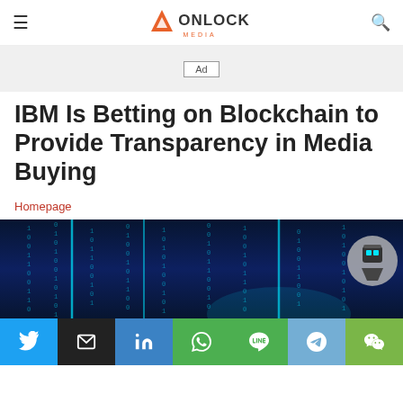Onlock Media - navigation header with logo
[Figure (other): Ad placeholder box with text 'Ad']
IBM Is Betting on Blockchain to Provide Transparency in Media Buying
Homepage
[Figure (photo): Dark blue digital background with binary code columns and glowing teal vertical lines, partial blockchain/network graphic of a hand in the lower right, with a robot avatar circle badge in the upper right]
[Figure (infographic): Social sharing bar with Twitter, Email, LinkedIn, WhatsApp, LINE, Telegram, and WeChat buttons]